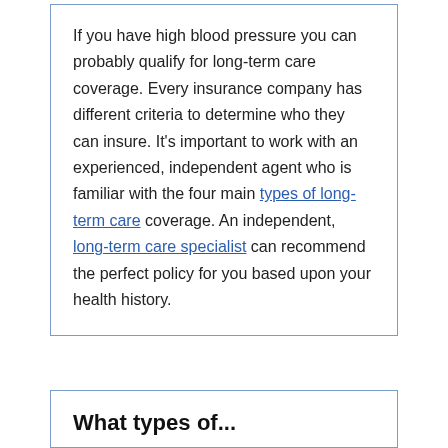If you have high blood pressure you can probably qualify for long-term care coverage. Every insurance company has different criteria to determine who they can insure. It's important to work with an experienced, independent agent who is familiar with the four main types of long-term care coverage. An independent, long-term care specialist can recommend the perfect policy for you based upon your health history.
What types of...